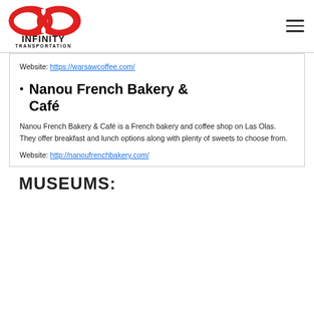[Figure (logo): Infinity Transportation logo with red infinity symbol above bold text INFINITY TRANSPORTATION]
Website: https://warsawcoffee.com/
Nanou French Bakery & Café
Nanou French Bakery & Café is a French bakery and coffee shop on Las Olas. They offer breakfast and lunch options along with plenty of sweets to choose from.
Website: http://nanoufrenchbakery.com/
MUSEUMS: